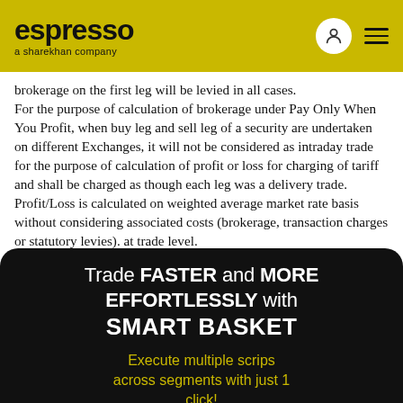espresso — a sharekhan company
brokerage on the first leg will be levied in all cases. For the purpose of calculation of brokerage under Pay Only When You Profit, when buy leg and sell leg of a security are undertaken on different Exchanges, it will not be considered as intraday trade for the purpose of calculation of profit or loss for charging of tariff and shall be charged as though each leg was a delivery trade. Profit/Loss is calculated on weighted average market rate basis without considering associated costs (brokerage, transaction charges or statutory levies). at trade level.
Trade FASTER and MORE EFFORTLESSLY with SMART BASKET
Execute multiple scrips across segments with just 1 click!
KNOW MORE